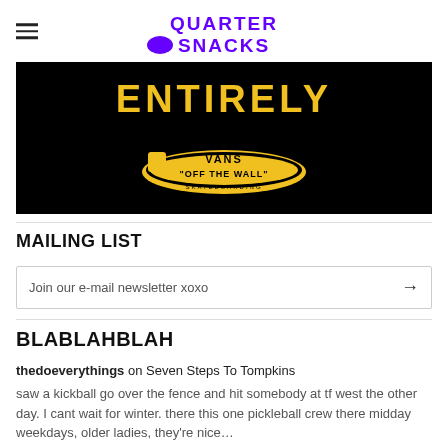QUARTER SNACKS
[Figure (illustration): Black background ad image with 'ENTIRELY' in large yellow text and Vans 'Off The Wall' Skateboarding logo in yellow below it]
MAILING LIST
Join our e-mail newsletter xoxo
BLABLAHBLAH
thedoeverythings on Seven Steps To Tompkins
saw a kickball go over the fence and hit somebody at tf west the other day. I cant wait for winter. there this one pickleball crew there midday weekdays, older ladies, they're nice…